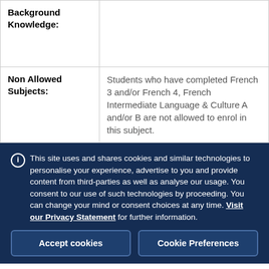| Background Knowledge: |  |
| Non Allowed Subjects: | Students who have completed French 3 and/or French 4, French Intermediate Language & Culture A and/or B are not allowed to enrol in this subject. |
This site uses and shares cookies and similar technologies to personalise your experience, advertise to you and provide content from third-parties as well as analyse our usage. You consent to our use of such technologies by proceeding. You can change your mind or consent choices at any time. Visit our Privacy Statement for further information.
Accept cookies
Cookie Preferences